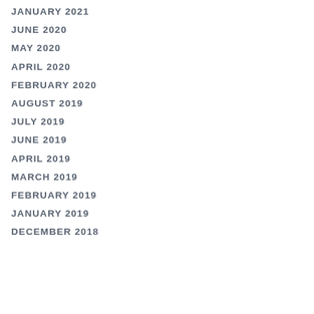JANUARY 2021
JUNE 2020
MAY 2020
APRIL 2020
FEBRUARY 2020
AUGUST 2019
JULY 2019
JUNE 2019
APRIL 2019
MARCH 2019
FEBRUARY 2019
JANUARY 2019
DECEMBER 2018